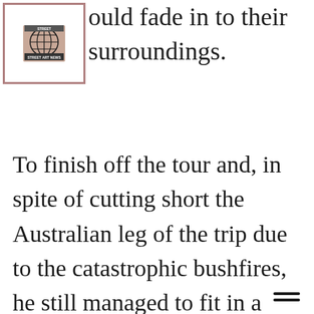[Figure (logo): Street Art News logo: globe icon with newspaper-style text]
ould fade in to their surroundings.
To finish off the tour and, in spite of cutting short the Australian leg of the trip due to the catastrophic bushfires, he still managed to fit in a colourful spray-painted ‘Hidden Beauty’ in Brighton, Melbourne to add to his